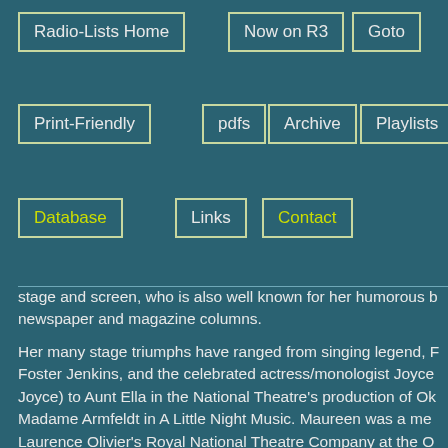Radio-Lists Home
Now on R3
Goto
Print-Friendly
pdfs
Archive
Playlists
Database
Links
Contact
stage and screen, who is also well known for her humorous b... newspaper and magazine columns.
Her many stage triumphs have ranged from singing legend, F... Foster Jenkins, and the celebrated actress/monologist Joyce... Joyce) to Aunt Ella in the National Theatre's production of Ok... Madame Armfeldt in A Little Night Music. Maureen was a me... Laurence Olivier's Royal National Theatre Company at the O... screen, Maureen starred in the situation comedy Agony and l... in well-loved TV series such as Coronation Street, Casualty, M... Murders, Jonathan Creek, Doctor Who, The Sweeney and Sr... She plays Irene Spencer in Ladies of Letters. On film her role... included Tricia in Educating Rita, and the mother of The Pia... Polanski's award-winning film of the same name. Her column... appeared in The Guardian and Good Housekeeping.